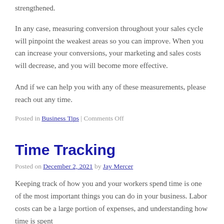strengthened.
In any case, measuring conversion throughout your sales cycle will pinpoint the weakest areas so you can improve. When you can increase your conversions, your marketing and sales costs will decrease, and you will become more effective.
And if we can help you with any of these measurements, please reach out any time.
Posted in Business Tips | Comments Off
Time Tracking
Posted on December 2, 2021 by Jay Mercer
Keeping track of how you and your workers spend time is one of the most important things you can do in your business. Labor costs can be a large portion of expenses, and understanding how time is spent